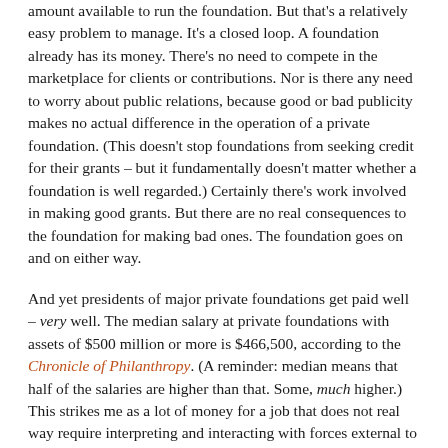amount available to run the foundation. But that's a relatively easy problem to manage. It's a closed loop. A foundation already has its money. There's no need to compete in the marketplace for clients or contributions. Nor is there any need to worry about public relations, because good or bad publicity makes no actual difference in the operation of a private foundation. (This doesn't stop foundations from seeking credit for their grants – but it fundamentally doesn't matter whether a foundation is well regarded.) Certainly there's work involved in making good grants. But there are no real consequences to the foundation for making bad ones. The foundation goes on and on either way.
And yet presidents of major private foundations get paid well – very well. The median salary at private foundations with assets of $500 million or more is $466,500, according to the Chronicle of Philanthropy. (A reminder: median means that half of the salaries are higher than that. Some, much higher.) This strikes me as a lot of money for a job that does not real way require interpreting and interacting with forces external to the organization. (Yes, a foundation interacts with